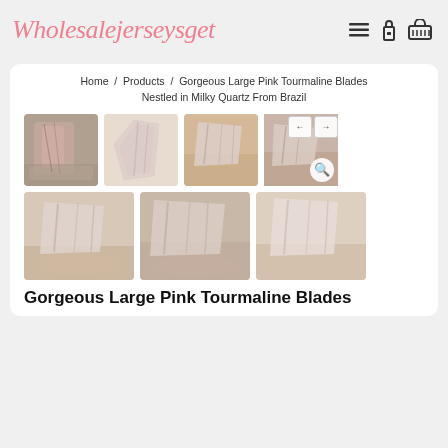Wholesalejerseysget
Home / Products / Gorgeous Large Pink Tourmaline Blades Nestled in Milky Quartz From Brazil
[Figure (photo): Seven product photos of pink tourmaline blades nestled in milky quartz crystals, shown from multiple angles, arranged in two rows of four and three thumbnails.]
Gorgeous Large Pink Tourmaline Blades